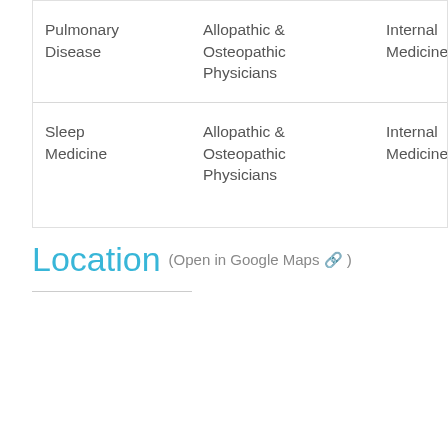| Specialty | Physician Type | Board Specialty |  |
| --- | --- | --- | --- |
| Pulmonary Disease | Allopathic & Osteopathic Physicians | Internal Medicine | P... |
| Sleep Medicine | Allopathic & Osteopathic Physicians | Internal Medicine | S... |
Location (Open in Google Maps 🔗 )